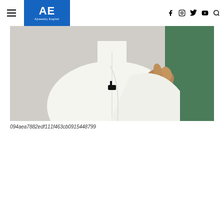AE Ajiweekly English — navigation with social icons (Facebook, Instagram, Twitter, YouTube, Search)
[Figure (photo): A person wearing a white long-sleeve kurta shirt with a small lavalier microphone clipped to the chest, gesturing with fingers, with a green background partially visible on the right side.]
094aea7882edf111f463cb0915448799